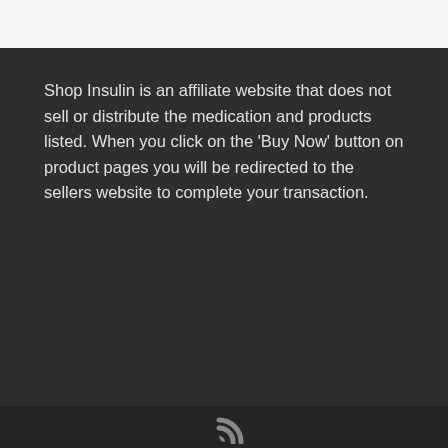Shop Insulin is an affiliate website that does not sell or distribute the medication and products listed. When you click on the 'Buy Now' button on product pages you will be redirected to the sellers website to complete your transaction.